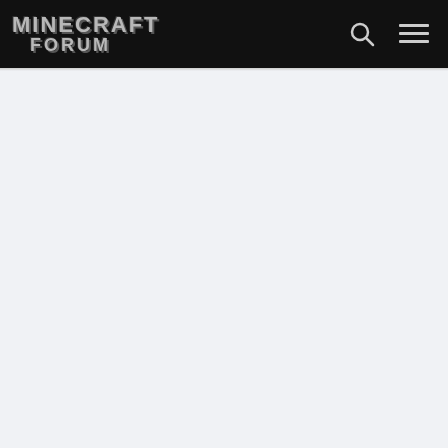MINECRAFT FORUM
toughenough6  May 28, 2012  #2
Member Details